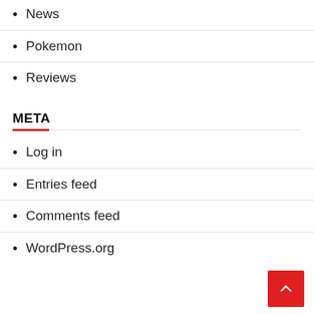News
Pokemon
Reviews
META
Log in
Entries feed
Comments feed
WordPress.org